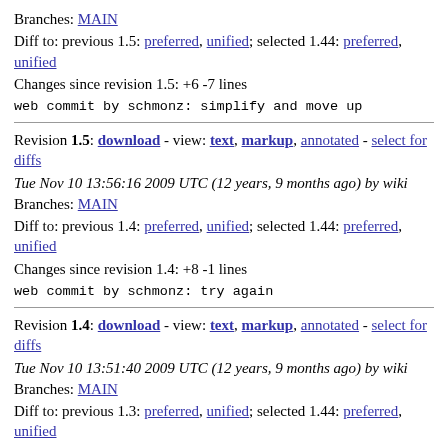Branches: MAIN
Diff to: previous 1.5: preferred, unified; selected 1.44: preferred, unified
Changes since revision 1.5: +6 -7 lines
web commit by schmonz: simplify and move up
Revision 1.5: download - view: text, markup, annotated - select for diffs
Tue Nov 10 13:56:16 2009 UTC (12 years, 9 months ago) by wiki
Branches: MAIN
Diff to: previous 1.4: preferred, unified; selected 1.44: preferred, unified
Changes since revision 1.4: +8 -1 lines
web commit by schmonz: try again
Revision 1.4: download - view: text, markup, annotated - select for diffs
Tue Nov 10 13:51:40 2009 UTC (12 years, 9 months ago) by wiki
Branches: MAIN
Diff to: previous 1.3: preferred, unified; selected 1.44: preferred, unified
Changes since revision 1.3: +2 -0 lines
web commit by schmonz: try a page-create form